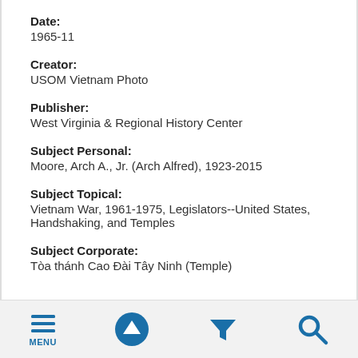Date:
1965-11
Creator:
USOM Vietnam Photo
Publisher:
West Virginia & Regional History Center
Subject Personal:
Moore, Arch A., Jr. (Arch Alfred), 1923-2015
Subject Topical:
Vietnam War, 1961-1975, Legislators--United States, Handshaking, and Temples
Subject Corporate:
Tòa thánh Cao Đài Tây Ninh (Temple)
[Figure (infographic): Mobile app toolbar with four icons: MENU (hamburger icon), up arrow in circle, filter funnel icon, and search magnifying glass icon]